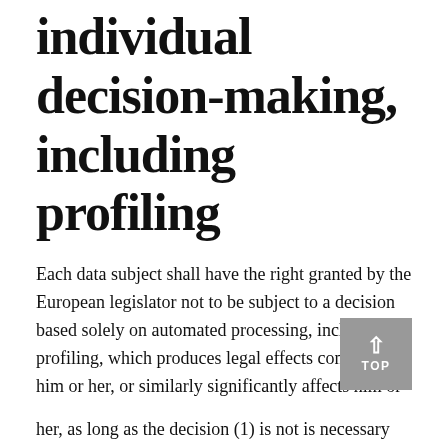individual decision-making, including profiling
Each data subject shall have the right granted by the European legislator not to be subject to a decision based solely on automated processing, including profiling, which produces legal effects concerning him or her, or similarly significantly affects him or
her, as long as the decision (1) is not is necessary for entering into, or the performance of, a contract between the data and a data controller, or (2) is not authorised by Union or